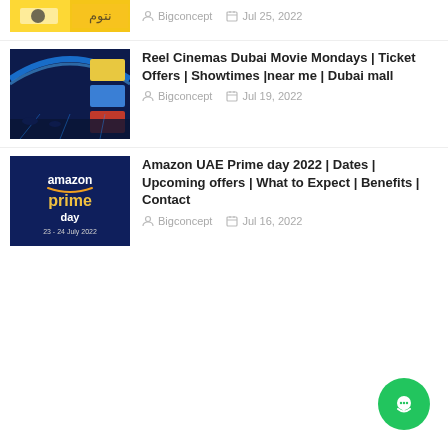[Figure (screenshot): Partial thumbnail at top — yellow promotional image with Arabic text]
Bigconcept   Jul 25, 2022
[Figure (photo): Cinema interior with blue lighting and screens]
Reel Cinemas Dubai Movie Mondays | Ticket Offers | Showtimes |near me | Dubai mall
Bigconcept   Jul 19, 2022
[Figure (screenshot): Amazon Prime Day 2022 promotional banner — blue background with yellow prime day logo, dates 23-24 July 2022]
Amazon UAE Prime day 2022 | Dates | Upcoming offers | What to Expect | Benefits | Contact
Bigconcept   Jul 16, 2022